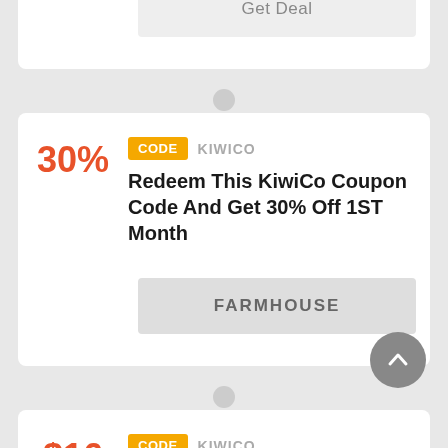KiwiCo At Just 20% Off Professions Kits
Get Deal
CODE  KIWICO
Redeem This KiwiCo Coupon Code And Get 30% Off 1ST Month
FARMHOUSE
CODE  KIWICO
Get 1 Month Free W/ The Purchase Of 6 Months Now: $16.50 Per Month